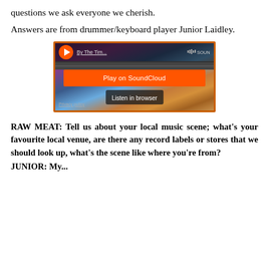questions we ask everyone we cherish.
Answers are from drummer/keyboard player Junior Laidley.
[Figure (screenshot): SoundCloud embedded player with orange 'Play on SoundCloud' button, 'Listen in browser' option, and 'Privacy policy' link over a background of landscape artwork.]
RAW MEAT: Tell us about your local music scene; what's your favourite local venue, are there any record labels or stores that we should look up, what's the scene like where you're from?
JUNIOR: My...